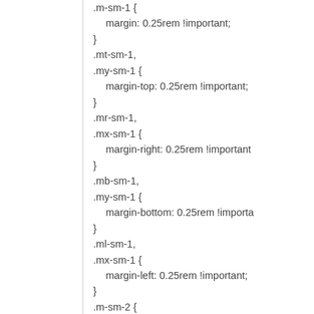.m-sm-1 {
  margin: 0.25rem !important;
}
.mt-sm-1,
.my-sm-1 {
  margin-top: 0.25rem !important;
}
.mr-sm-1,
.mx-sm-1 {
  margin-right: 0.25rem !important
}
.mb-sm-1,
.my-sm-1 {
  margin-bottom: 0.25rem !importa
}
.ml-sm-1,
.mx-sm-1 {
  margin-left: 0.25rem !important;
}
.m-sm-2 {
  margin: 0.5rem !important;
}
.mt-sm-2,